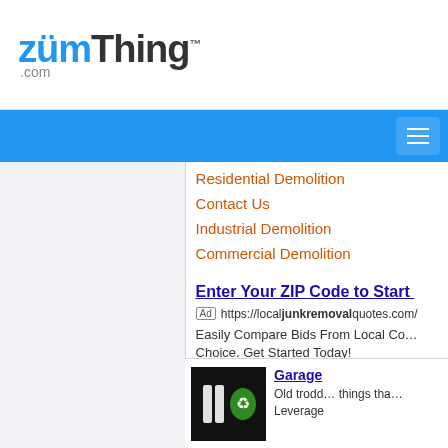zümThing.com
Residential Demolition
Contact Us
Industrial Demolition
Commercial Demolition
Enter Your ZIP Code to Start
Ad https://localjunkremovalquotes.com/
Easily Compare Bids From Local C... Choice. Get Started Today!
Dumpster Rental
Waste Hauling
[Figure (logo): Junk removal logo with white recycling symbol and green element on black background]
Garage
Old trodd... things tha... Leverage